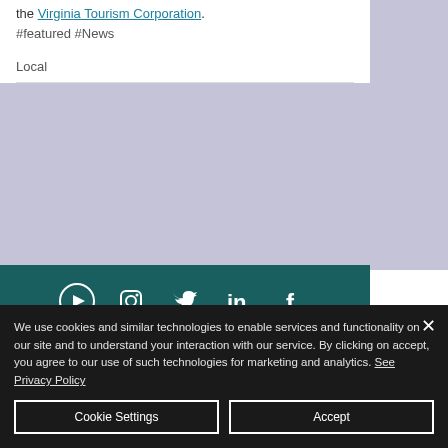the Virginia Tourism Corporation. #featured #News
Local
[Figure (other): Teal footer with social media icons (YouTube, Instagram, Twitter, LinkedIn, Facebook) and address text: Tom Tom Foundation, 100 W South St. #1D, Charlottesville VA 22902]
Tom Tom Foundation
100 W South St. #1D
Charlottesville VA 22902
We use cookies and similar technologies to enable services and functionality on our site and to understand your interaction with our service. By clicking on accept, you agree to our use of such technologies for marketing and analytics. See Privacy Policy
Cookie Settings
Accept